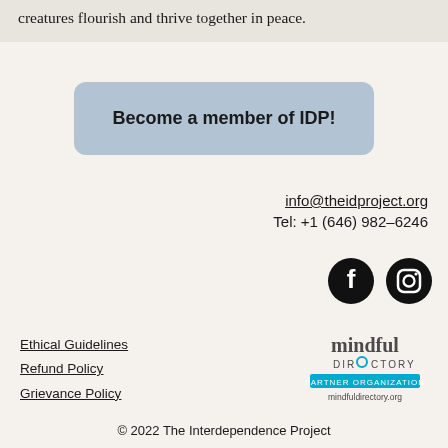creatures flourish and thrive together in peace.
Become a member of IDP!
info@theidproject.org
Tel: +1 (646) 982–6246
[Figure (illustration): Facebook and Instagram social media icons (black circles with white logos)]
Ethical Guidelines
Refund Policy
Grievance Policy
[Figure (logo): Mindful Directory Partner Organization logo with text mindfuldirectory.org]
© 2022 The Interdependence Project